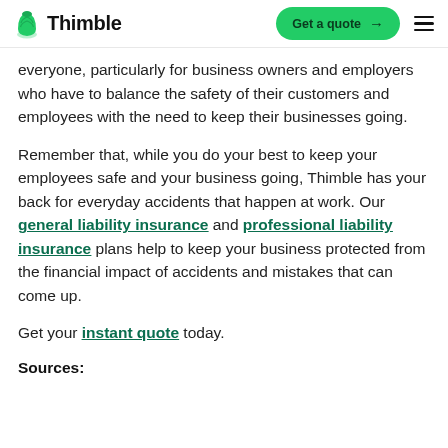Thimble | Get a quote
everyone, particularly for business owners and employers who have to balance the safety of their customers and employees with the need to keep their businesses going.
Remember that, while you do your best to keep your employees safe and your business going, Thimble has your back for everyday accidents that happen at work. Our general liability insurance and professional liability insurance plans help to keep your business protected from the financial impact of accidents and mistakes that can come up.
Get your instant quote today.
Sources: